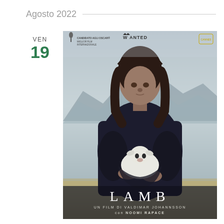Agosto 2022
VEN
19
[Figure (photo): Movie poster for 'LAMB' (Dýrið) directed by Valdimar Jóhannsson, starring Noomi Rapace. A woman with long dark hair holds a white lamb wrapped in a dark cloth, standing against a misty mountainous Icelandic landscape. The poster includes award badges: 'Candidato agli Oscar - Miglior Film Internazionale', 'Wanted' logo, and Cannes film festival logo. At the bottom reads: LAMB, UN FILM DI VALDIMAR JOHANNSSON, con NOOMI RAPACE.]